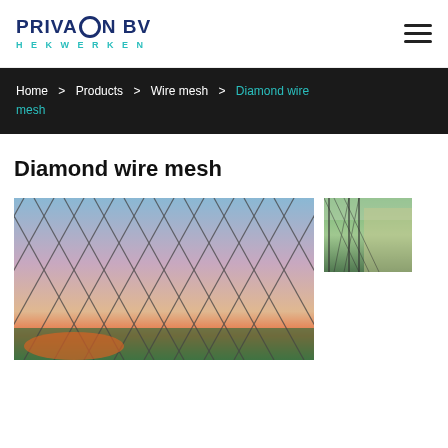PRIVACON BV HEKWERKEN — navigation header with logo and hamburger menu
Home > Products > Wire mesh > Diamond wire mesh
Diamond wire mesh
[Figure (photo): Close-up photograph of a diamond wire mesh (chain-link fence) against a colorful sunset sky]
[Figure (photo): Thumbnail photograph of a chain-link fence along a road or field]